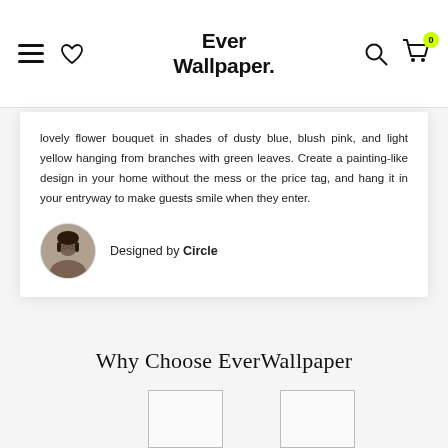Ever Wallpaper.
lovely flower bouquet in shades of dusty blue, blush pink, and light yellow hanging from branches with green leaves. Create a painting-like design in your home without the mess or the price tag, and hang it in your entryway to make guests smile when they enter.
Designed by Circle
Why Choose EverWallpaper
[Figure (photo): Two product image placeholders shown partially at the bottom of the page]